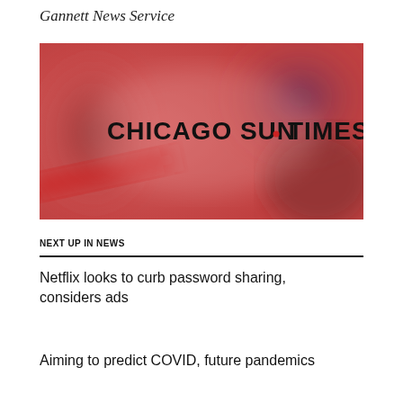Gannett News Service
[Figure (logo): Chicago Sun-Times logo over a blurred reddish background image]
NEXT UP IN NEWS
Netflix looks to curb password sharing, considers ads
Aiming to predict COVID, future pandemics